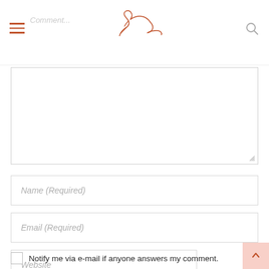Comment...
[Figure (logo): Antelope/gazelle line art logo in terracotta/rust color]
Comment...
Name (Required)
Email (Required)
Website
Notify me via e-mail if anyone answers my comment.